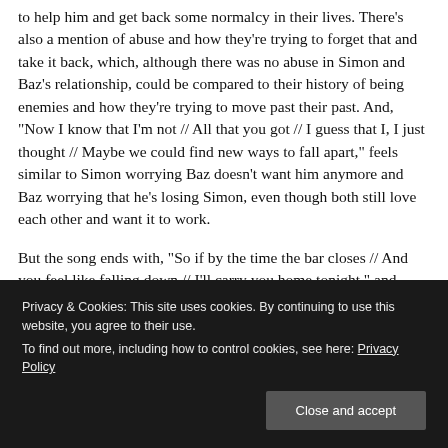to help him and get back some normalcy in their lives. There's also a mention of abuse and how they're trying to forget that and take it back, which, although there was no abuse in Simon and Baz's relationship, could be compared to their history of being enemies and how they're trying to move past their past. And, "Now I know that I'm not // All that you got // I guess that I, I just thought // Maybe we could find new ways to fall apart," feels similar to Simon worrying Baz doesn't want him anymore and Baz worrying that he's losing Simon, even though both still love each other and want it to work.
But the song ends with, "So if by the time the bar closes // And you feel like falling down // I'll carry you home tonight," and thinking about that metaphorically, it also perfectly fits with the book. Because Simon is falling down, and Baz just wants to help him
Privacy & Cookies: This site uses cookies. By continuing to use this website, you agree to their use. To find out more, including how to control cookies, see here: Privacy Policy